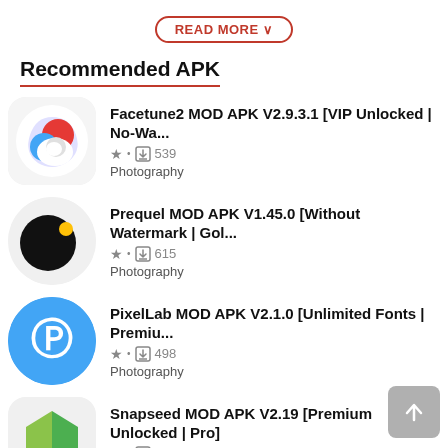READ MORE ▾
Recommended APK
Facetune2 MOD APK V2.9.3.1 [VIP Unlocked | No-Wa... ★ · ↓ 539 Photography
Prequel MOD APK V1.45.0 [Without Watermark | Gol... ★ · ↓ 615 Photography
PixelLab MOD APK V2.1.0 [Unlimited Fonts | Premiu... ★ · ↓ 498 Photography
Snapseed MOD APK V2.19 [Premium Unlocked | Pro] ★ · ↓ 547 Photography